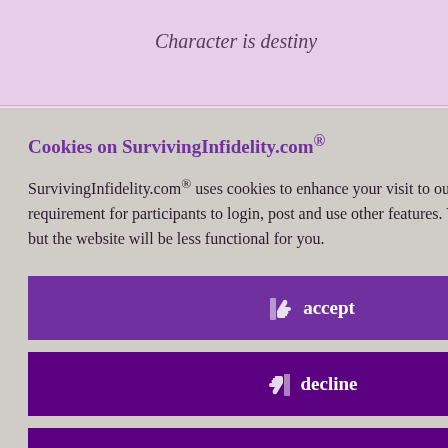Character is destiny
id 7985903
, November 25th,
v months, so
here. My D-Day
he flies!) and
er thought it
ful last few
;
e where I was a
Cookies on SurvivingInfidelity.com®
SurvivingInfidelity.com® uses cookies to enhance your visit to our website. This is a requirement for participants to login, post and use other features. Visitors may opt out, but the website will be less functional for you.
accept
decline
about cookies
Policy